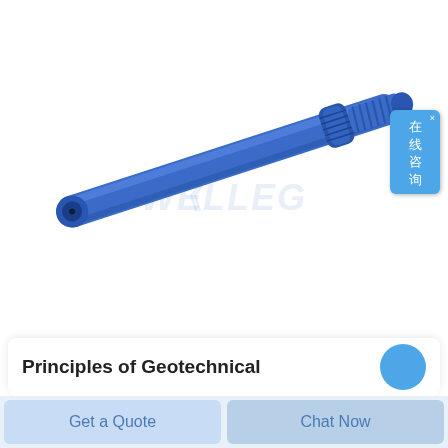[Figure (photo): Blue cylindrical threaded rod/drill rod component, elongated tube with threaded end on upper right, hollow opening visible on lower left end, shown diagonally on white background with a faint watermark logo.]
Principles of Geotechnical
Get a Quote
Chat Now